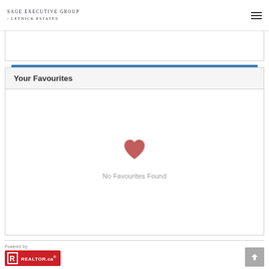Sage Executive Group – Letnick Estates
Send
Your Favourites
[Figure (illustration): Red heart icon indicating favourites]
No Favourites Found
Powered by: REALTOR.ca